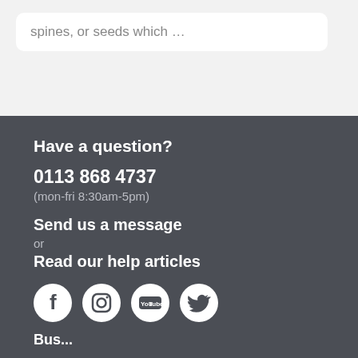spines, or seeds which …
Have a question?
0113 868 4737
(mon-fri 8:30am-5pm)
Send us a message
or
Read our help articles
[Figure (infographic): Row of four social media icons: Facebook, Instagram, YouTube, Twitter — white circles on dark background]
Bus...